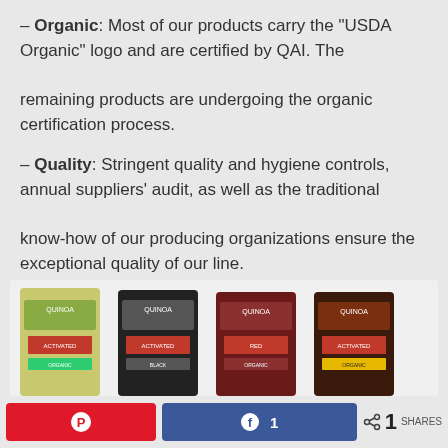– Organic: Most of our products carry the “USDA Organic” logo and are certified by QAI. The remaining products are undergoing the organic certification process.
– Quality: Stringent quality and hygiene controls, annual suppliers’ audit, as well as the traditional know-how of our producing organizations ensure the exceptional quality of our line.
[Figure (photo): Four packages of quinoa products displayed side by side on a light background]
[Figure (infographic): Social media sharing buttons: Pinterest (red), Facebook (blue, showing count 1), and a share icon with count 1 and SHARES label]